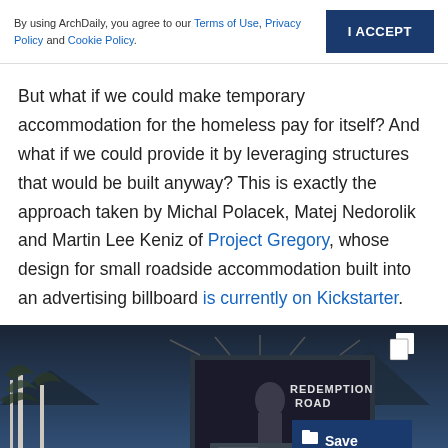By using ArchDaily, you agree to our Terms of Use, Privacy Policy and Cookie Policy.
But what if we could make temporary accommodation for the homeless pay for itself? And what if we could provide it by leveraging structures that would be built anyway? This is exactly the approach taken by Michal Polacek, Matej Nedorolik and Martin Lee Keniz of Project Gregory, whose design for small roadside accommodation built into an advertising billboard is currently on Kickstarter.
[Figure (photo): Photograph of a billboard structure at night/dusk with a 'Redemption Road' advertisement, surrounded by birch trees and mountains in the background. A 'Save' button overlay is visible in the lower right.]